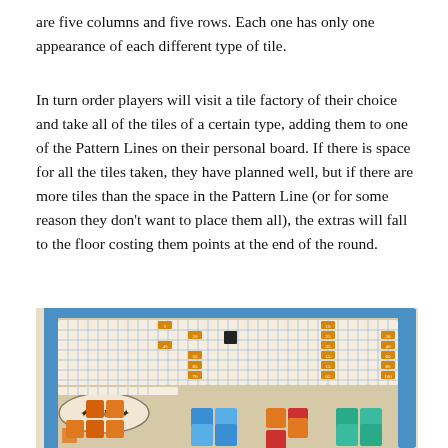are five columns and five rows. Each one has only one appearance of each different type of tile.
In turn order players will visit a tile factory of their choice and take all of the tiles of a certain type, adding them to one of the Pattern Lines on their personal board. If there is space for all the tiles taken, they have planned well, but if there are more tiles than the space in the Pattern Line (or for some reason they don’t want to place them all), the extras will fall to the floor costing them points at the end of the round.
[Figure (photo): Photo of an Azul board game in progress, showing the scoring track board and colorful mosaic tiles (blue, orange, red, teal) arranged on the playing surface.]